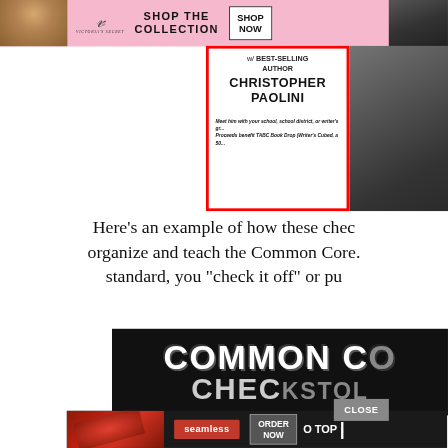[Figure (screenshot): Victoria's Secret advertisement banner with model photo, VS logo, 'SHOP THE COLLECTION' text, and 'SHOP NOW' button on pink background]
[Figure (screenshot): Advertisement for meeting with best-selling author Christopher Paolini, red-bordered white box with author name in bold, and partial photo of bearded man in dark jacket. Text: 'w/ BEST-SELLING AUTHOR CHRISTOPHER PAOLINI. Meet him with your school, school district, or writer's gr... Proceeds benefit TABC Book Drop (Writer's Cubed, a 50...']
Here's an example of how these chec organize and teach the Common Core. standard, you "check it off" or pu
[Figure (screenshot): Dark background image showing large white bold stylized text 'COMMON CO' and 'CHECKTOL' partially visible - appears to be a Common Core Checklist book or resource cover]
[Figure (screenshot): Seamless food delivery advertisement banner: pizza photo on left, red Seamless logo in center, 'ORDER NOW' button in grey box, '0 TOP' text partially visible, on dark background. CLOSE button overlay in grey.]